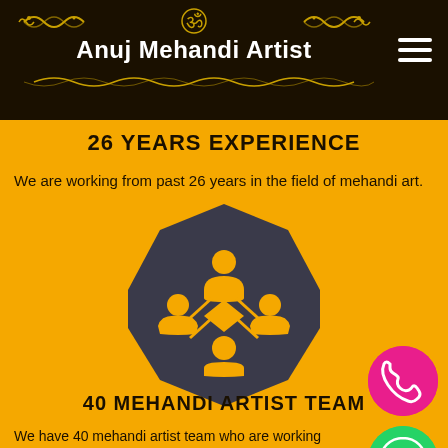Anuj Mehandi Artist
26 YEARS EXPERIENCE
We are working from past 26 years in the field of mehandi art.
[Figure (illustration): Dark octagon shape with gold team/people icon showing 4 persons in a circle]
40 MEHANDI ARTIST TEAM
We have 40 mehandi artist team who are working with us.
[Figure (illustration): Gold octagon shape with black location pin icon (partially visible at bottom)]
[Figure (illustration): Pink circle with white phone icon (call button)]
[Figure (illustration): Green circle with white WhatsApp icon]